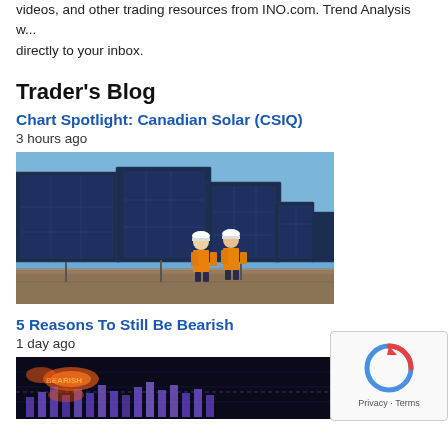videos, and other trading resources from INO.com. Trend Analysis will be sent directly to your inbox.
Trader's Blog
Chart Spotlight: Canadian Solar (CSIQ)
3 hours ago
[Figure (photo): Two workers in orange safety vests and white hard hats walking among large solar panels in a solar farm under a blue sky.]
5 Reasons To Still Be Bearish
1 day ago
[Figure (photo): Dark background chart with purple/blue bar chart and orange glowing text elements, financial market chart.]